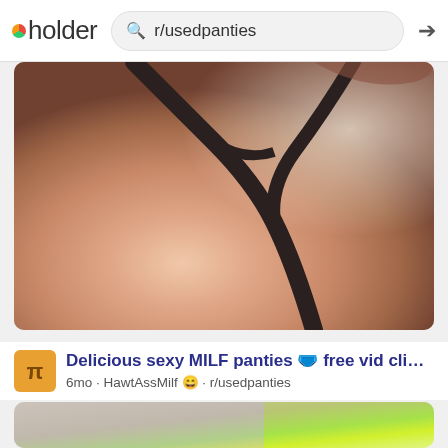pholder  r/usedpanties
[Figure (photo): Close-up photo of person wearing dark thong underwear, warm skin tones with soft lighting]
Delicious sexy MILF panties 🩲 free vid clip & free shippi
6mo · HawtAssMilf 🙂 · r/usedpanties
[Figure (photo): Close-up photo of white lacy panties with bright yellow-green trim against light background]
[Figure (photo): Woman with blonde hair taking selfie in mirror, indoor setting with door visible]